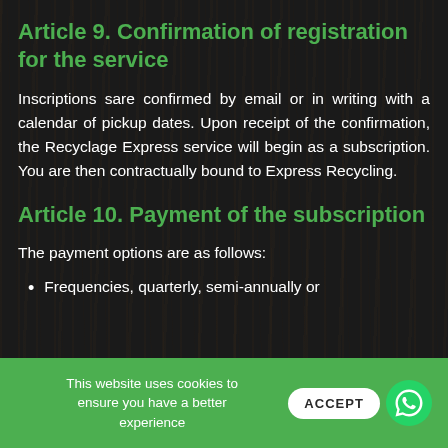Article 9. Confirmation of registration for the service
Inscriptions sare confirmed by email or in writing with a calendar of pickup dates. Upon receipt of the confirmation, the Recyclage Express service will begin as a subscription. You are then contractually bound to Express Recycling.
Article 10. Payment of the subscription
The payment options are as follows:
Frequencies, quarterly, semi-annually or
This website uses cookies to ensure you have a better experience
ACCEPT